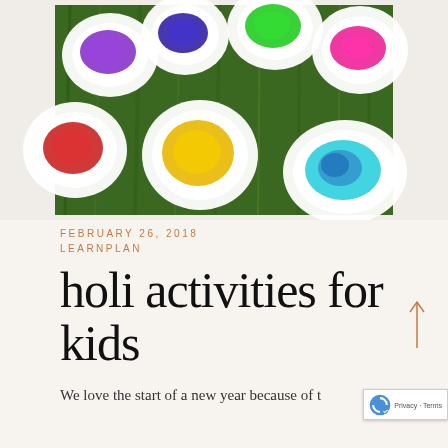[Figure (photo): Overhead view of paper plates on grass filled with colorful Holi powder — purple, blue/indigo, green, pink/magenta, red/orange, yellow/gold, and light/cyan blue powders]
FEBRUARY 26, 2018
LEARNPLAN
holi activities for kids
We love the start of a new year because of t…